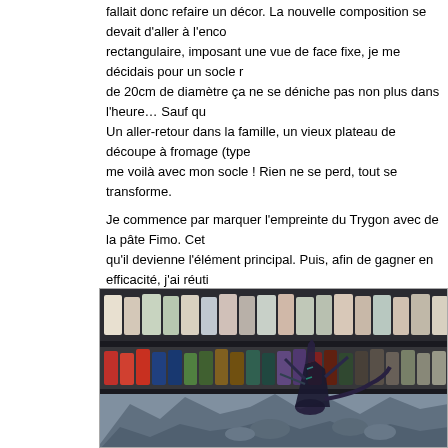fallait donc refaire un décor. La nouvelle composition se devait d'aller à l'encontre du format rectangulaire, imposant une vue de face fixe, je me décidais pour un socle rond. Mais un rond de 20cm de diamètre ça ne se déniche pas non plus dans l'heure… Sauf qu'on ne cherche pas bien ! Un aller-retour dans la famille, un vieux plateau de découpe à fromage (type plateau en marbre) et me voilà avec mon socle ! Rien ne se perd, tout se transforme.
Je commence par marquer l'empreinte du Trygon avec de la pâte Fimo. Cette figurine est si grande qu'il devienne l'élément principal. Puis, afin de gagner en efficacité, j'ai réuti... Le sol est réalisé avec du Milliput. Une fois la pâte déposée, je saupoudre p... sables. Du très fin, du moyen, des petits graviers, il faut de la variété. Je ta... blister pour l'enfoncer dans la pâte puis je la laisse reposer une quinzaine d... gomme je viens étirer la pâte pour la "briser". J'obtiens ainsi une jolie texture... complètement durcie j'enfonce aussi de petits morceaux de roche par-ci par... de réalisme mais aussi pour casser la monotonie.
[Figure (photo): Photo of a painted Tyranid Trygon miniature on a rocky base, displayed in front of shelves filled with paint pots and bottles in a hobby/gaming workshop setting.]